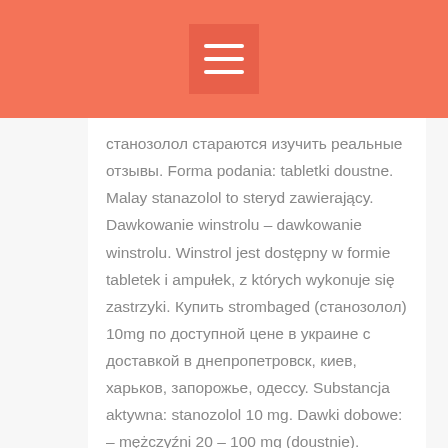станозолол стараются изучить реальные отзывы. Forma podania: tabletki doustne. Malay stanazolol to steryd zawierający. Dawkowanie winstrolu – dawkowanie winstrolu. Winstrol jest dostępny w formie tabletek i ampułek, z których wykonuje się zastrzyki. Купить strombaged (станозолол) 10mg по доступной цене в украине с доставкой в днепропетровск, киев, харьков, запорожье, одессу. Substancja aktywna: stanozolol 10 mg. Dawki dobowe: – mężczyźni 20 – 100 mg (doustnie). Станозолол – zillt medicine l 100 табл – 10